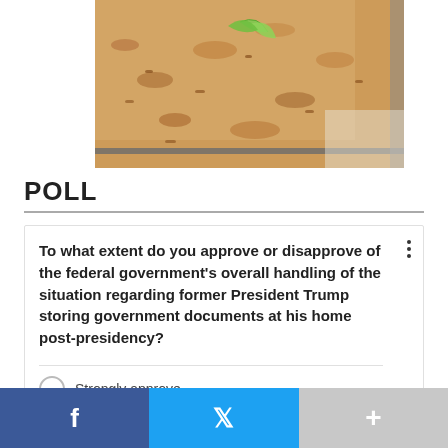[Figure (photo): Close-up photo of a baked apple crumble or apple dessert bar on a baking sheet, topped with green apple slices, with a golden-brown crumbly topping and glaze.]
POLL
To what extent do you approve or disapprove of the federal government's overall handling of the situation regarding former President Trump storing government documents at his home post-presidency?
Strongly approve